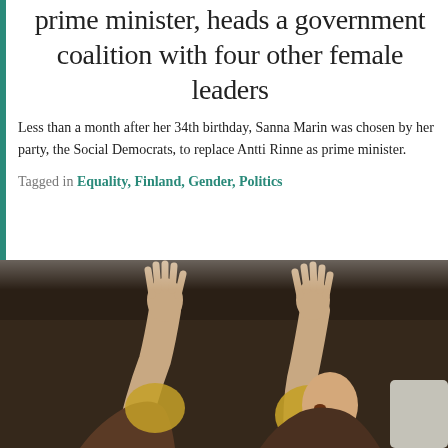prime minister, heads a government coalition with four other female leaders
Less than a month after her 34th birthday, Sanna Marin was chosen by her party, the Social Democrats, to replace Antti Rinne as prime minister.
Tagged in Equality, Finland, Gender, Politics
[Figure (photo): Two women with arms raised up in celebration, photographed from below against a dark background. Sports or celebration context.]